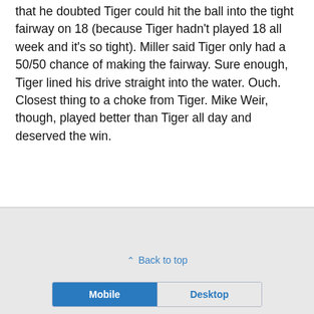that he doubted Tiger could hit the ball into the tight fairway on 18 (because Tiger hadn't played 18 all week and it's so tight). Miller said Tiger only had a 50/50 chance of making the fairway. Sure enough, Tiger lined his drive straight into the water. Ouch. Closest thing to a choke from Tiger. Mike Weir, though, played better than Tiger all day and deserved the win.
Back to top
Mobile | Desktop